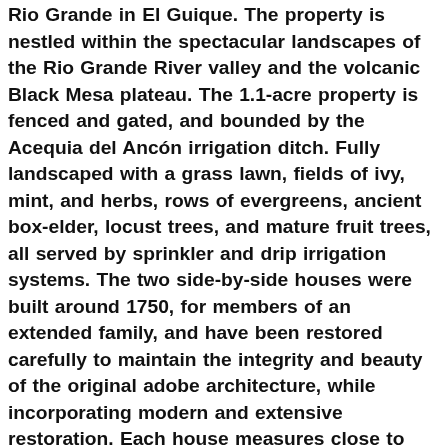Rio Grande in El Guique. The property is nestled within the spectacular landscapes of the Rio Grande River valley and the volcanic Black Mesa plateau. The 1.1-acre property is fenced and gated, and bounded by the Acequia del Ancón irrigation ditch. Fully landscaped with a grass lawn, fields of ivy, mint, and herbs, rows of evergreens, ancient box-elder, locust trees, and mature fruit trees, all served by sprinkler and drip irrigation systems. The two side-by-side houses were built around 1750, for members of an extended family, and have been restored carefully to maintain the integrity and beauty of the original adobe architecture, while incorporating modern and extensive restoration. Each house measures close to 1,800 square feet with thick adobe walls and 10-foot-high ceilings formed by original vigas, and wood floors throughout both houses. The houses can be configured in a variety of fashions. Presently the main house comprises a large eat-in kitchen with an additional seating area at the corner fireplace, a spacious dining room with large windows overlooking the lawn, a living room with